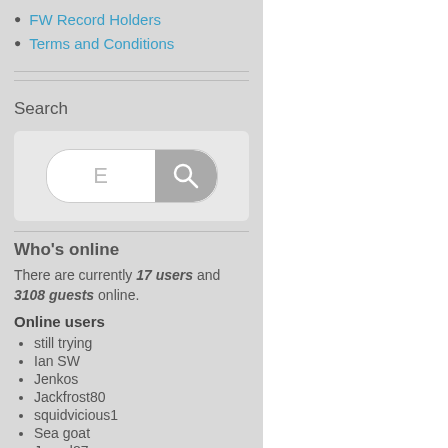FW Record Holders
Terms and Conditions
Search
[Figure (screenshot): Search box widget with text input field showing 'E' and a grey search button with magnifying glass icon]
Who's online
There are currently 17 users and 3108 guests online.
Online users
still trying
Ian SW
Jenkos
Jackfrost80
squidvicious1
Sea goat
Jarryd87
Coastrunner
big john